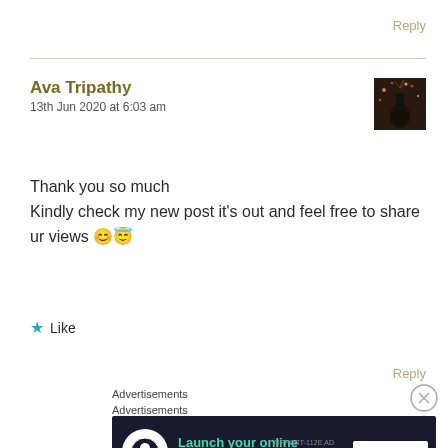Reply
Ava Tripathy
13th Jun 2020 at 6:03 am
[Figure (photo): Small avatar photo of a person silhouetted against colorful lights]
Thank you so much
Kindly check my new post it's out and feel free to share ur views 😊😇
★ Like
Reply
Advertisements
Advertisements
[Figure (infographic): Advertisement banner: Launch your online course with WordPress - Learn More button on dark navy background with teal text and white circle icon]